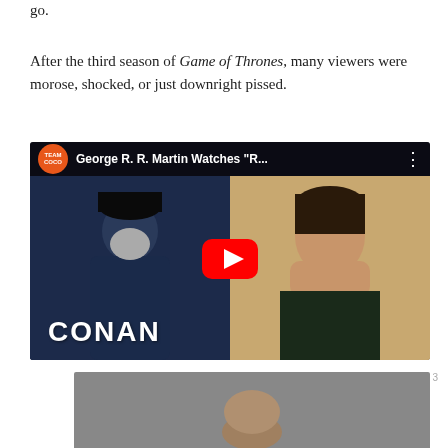go.
After the third season of Game of Thrones, many viewers were morose, shocked, or just downright pissed.
[Figure (screenshot): YouTube video thumbnail showing George R. R. Martin on the Conan show (Team Coco) on the left side, and a shocked young woman covering her mouth on the right side. The video title reads 'George R. R. Martin Watches "R...' with a red YouTube play button in the center. The word CONAN is displayed in large white letters at the bottom left.]
[Figure (photo): Meme image showing a person with text overlay reading 'I'M JUST TRYING TO MAKE THE STORY INTERESTING AND UNPREDICTABLE' in bold white capital letters with black outline.]